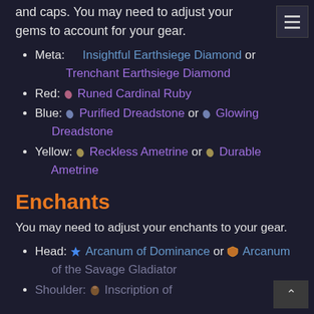and caps. You may need to adjust your gems to account for your gear.
Meta: Insightful Earthsiege Diamond or Trenchant Earthsiege Diamond
Red: Runed Cardinal Ruby
Blue: Purified Dreadstone or Glowing Dreadstone
Yellow: Reckless Ametrine or Durable Ametrine
Enchants
You may need to adjust your enchants to your gear.
Head: Arcanum of Dominance or Arcanum of the Savage Gladiator
Shoulder: Inscription of